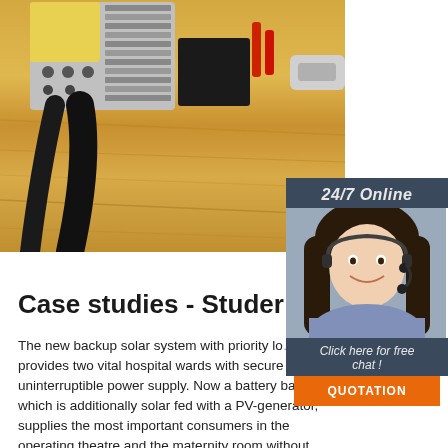[Figure (photo): Close-up photo of a solar charge controller / inverter device (yellow and silver) with black cables and wiring on a wooden floor background]
[Figure (illustration): Sidebar widget showing a smiling woman with headset and text '24/7 Online', 'Click here for free chat!', and an orange QUOTATION button]
Case studies - Studer Innote...
The new backup solar system with priority lo... provides two vital hospital wards with secure and uninterruptible power supply. Now a battery bank, which is additionally solar fed with a PV-generator, supplies the most important consumers in the operating theatre and the maternity room without interruption during power blackouts.